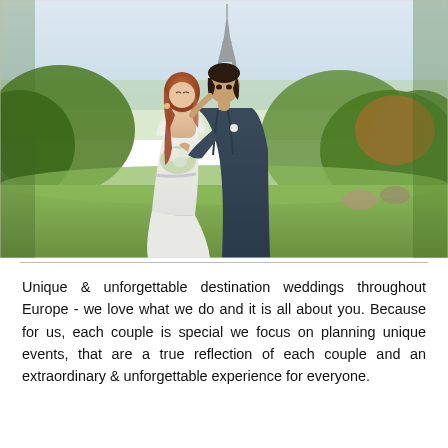[Figure (photo): A couple posing in front of the Eiffel Tower in Paris. The bride wears a white dress and holds a bouquet of white flowers. The groom in a dark suit leans in close to her. Green trees and grass are visible in the background.]
Unique & unforgettable destination weddings throughout Europe - we love what we do and it is all about you. Because for us, each couple is special we focus on planning unique events, that are a true reflection of each couple and an extraordinary & unforgettable experience for everyone.